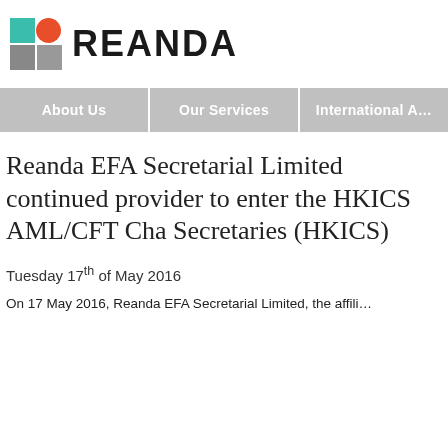[Figure (logo): Reanda logo: geometric icon with teal square, orange circle, dark grey square arranged in a 2x2 grid pattern, followed by bold text REANDA]
About Us | Our Services | International A…
Reanda EFA Secretarial Limited continued provider to enter the HKICS AML/CFT Cha Secretaries (HKICS)
Tuesday 17th of May 2016
On 17 May 2016, Reanda EFA Secretarial Limited, the affili…